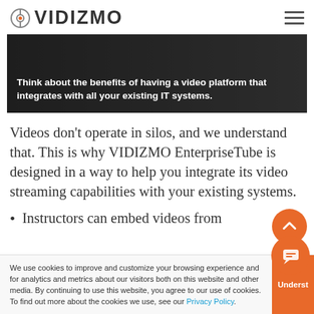VIDIZMO
[Figure (screenshot): Dark hero image with overlaid white bold text: 'Think about the benefits of having a video platform that integrates with all your existing IT systems.']
Videos don't operate in silos, and we understand that. This is why VIDIZMO EnterpriseTube is designed in a way to help you integrate its video streaming capabilities with your existing systems.
Instructors can embed videos from
We use cookies to improve and customize your browsing experience and for analytics and metrics about our visitors both on this website and other media. By continuing to use this website, you agree to our use of cookies. To find out more about the cookies we use, see our Privacy Policy.